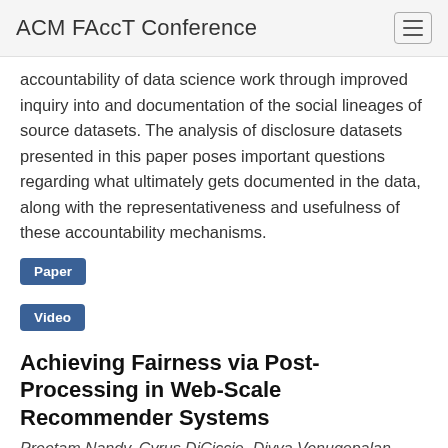ACM FAccT Conference
accountability of data science work through improved inquiry into and documentation of the social lineages of source datasets. The analysis of disclosure datasets presented in this paper poses important questions regarding what ultimately gets documented in the data, along with the representativeness and usefulness of these accountability mechanisms.
Paper
Video
Achieving Fairness via Post-Processing in Web-Scale Recommender Systems
Preetam Nandy, Cyrus DiCiccio, Divya Venugopalan, Heloise Logan, Kinjal Basu and Noureddine El Karoui
Building fair recommender systems is a challenging and crucial area of study due to its immense impact on society. We extended the definitions of two commonly accepted notions of fairness to recommender systems, namely equality of opportunity and equalized odds. These fairness measures